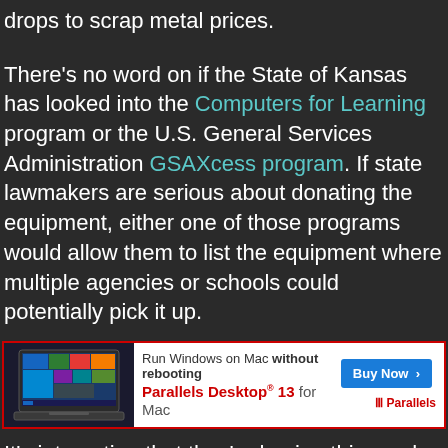drops to scrap metal prices.
There’s no word on if the State of Kansas has looked into the Computers for Learning program or the U.S. General Services Administration GSAXcess program. If state lawmakers are serious about donating the equipment, either one of those programs would allow them to list the equipment where multiple agencies or schools could potentially pick it up.
[Figure (screenshot): Advertisement banner for Parallels Desktop 13 for Mac. Shows laptop with Windows UI, text 'Run Windows on Mac without rebooting', 'Parallels Desktop 13 for Mac', blue 'Buy Now' button, and Parallels logo.]
It’s interesting that they’re having this much trouble